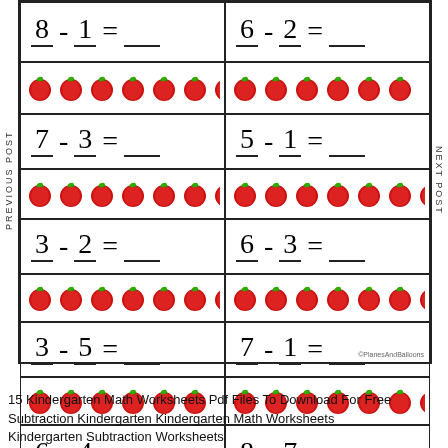[Figure (illustration): Kindergarten subtraction worksheet with apple counters. Six subtraction problems arranged in a 2-column grid: 8-1=, 6-2=, 7-3=, 5-1=, 3-2=, 6-3=, 3-5=, 7-1=, 6-4=, 8-7=. Each problem is paired with a row of red apple images to help count. Side labels read PREVIOUS POST and NEXT POST. Watermark: ©PlanesAndBalloons]
15 Kindergarten Math Worksheets Pdf Files To Download For Free Subtraction Kindergarten Kindergarten Math Worksheets Kindergarten Subtraction Worksheets